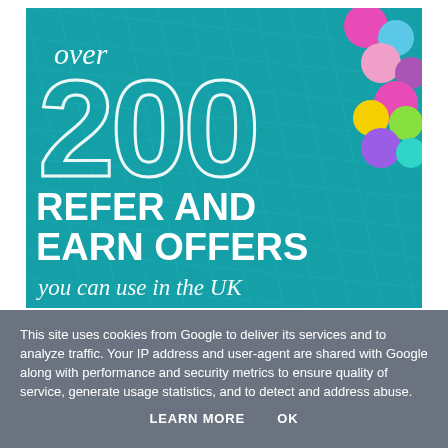[Figure (infographic): Promotional banner on teal grid background with colorful balls. Text reads 'over 200 REFER AND EARN OFFERS you can use in the UK']
This site uses cookies from Google to deliver its services and to analyze traffic. Your IP address and user-agent are shared with Google along with performance and security metrics to ensure quality of service, generate usage statistics, and to detect and address abuse.
LEARN MORE    OK